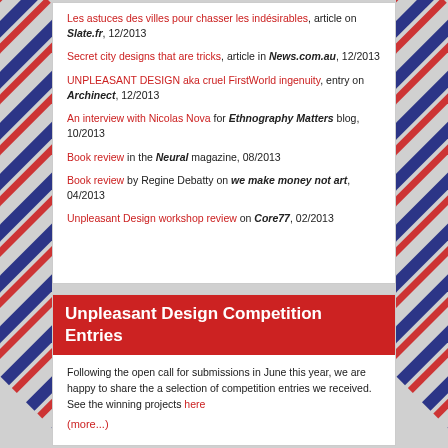Les astuces des villes pour chasser les indésirables, article on Slate.fr, 12/2013
Secret city designs that are tricks, article in News.com.au, 12/2013
UNPLEASANT DESIGN aka cruel FirstWorld ingenuity, entry on Archinect, 12/2013
An interview with Nicolas Nova for Ethnography Matters blog, 10/2013
Book review in the Neural magazine, 08/2013
Book review by Regine Debatty on we make money not art, 04/2013
Unpleasant Design workshop review on Core77, 02/2013
Unpleasant Design Competition Entries
Following the open call for submissions in June this year, we are happy to share the a selection of competition entries we received. See the winning projects here
(more...)